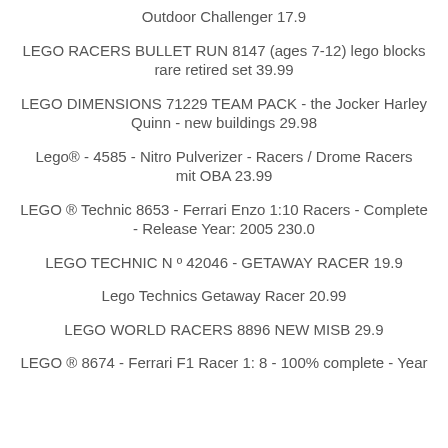Outdoor Challenger 17.9
LEGO RACERS BULLET RUN 8147 (ages 7-12) lego blocks rare retired set 39.99
LEGO DIMENSIONS 71229 TEAM PACK - the Jocker Harley Quinn - new buildings 29.98
Lego® - 4585 - Nitro Pulverizer - Racers / Drome Racers mit OBA 23.99
LEGO ® Technic 8653 - Ferrari Enzo 1:10 Racers - Complete - Release Year: 2005 230.0
LEGO TECHNIC N º 42046 - GETAWAY RACER 19.9
Lego Technics Getaway Racer 20.99
LEGO WORLD RACERS 8896 NEW MISB 29.9
LEGO ® 8674 - Ferrari F1 Racer 1: 8 - 100% complete - Year